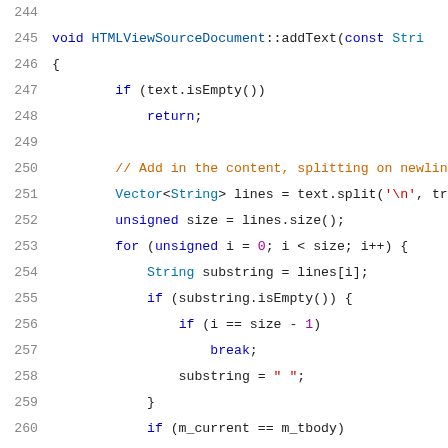[Figure (screenshot): Source code listing of HTMLViewSourceDocument::addText() C++ method, lines 244-265, with syntax highlighting on a white background.]